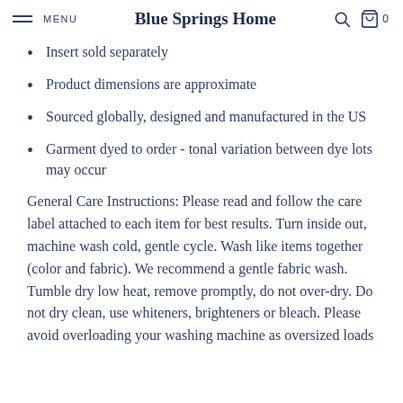MENU   Blue Springs Home   🔍  🛍 0
Insert sold separately
Product dimensions are approximate
Sourced globally, designed and manufactured in the US
Garment dyed to order - tonal variation between dye lots may occur
General Care Instructions: Please read and follow the care label attached to each item for best results. Turn inside out, machine wash cold, gentle cycle. Wash like items together (color and fabric). We recommend a gentle fabric wash. Tumble dry low heat, remove promptly, do not over-dry. Do not dry clean, use whiteners, brighteners or bleach. Please avoid overloading your washing machine as oversized loads